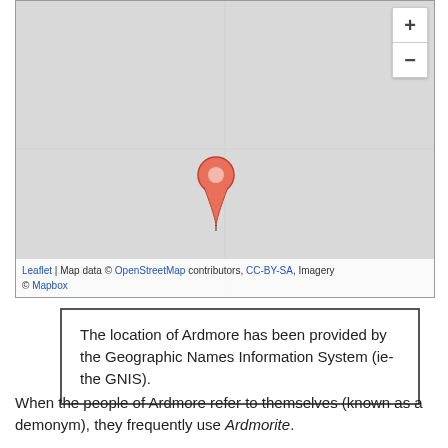[Figure (map): Interactive map (Leaflet/OpenStreetMap) showing a location pin (salmon/red teardrop marker) on a gray map tile, with zoom +/- controls in the top-right corner and attribution text at the bottom reading: Leaflet | Map data © OpenStreetMap contributors, CC-BY-SA, Imagery © Mapbox]
The location of Ardmore has been provided by the Geographic Names Information System (ie- the GNIS).
When the people of Ardmore refer to themselves (known as a demonym), they frequently use Ardmorite.